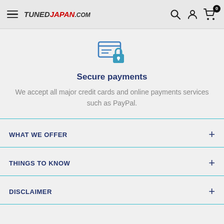TunedJapan.com navigation header with hamburger menu, logo, search, account, and cart icons
[Figure (illustration): Secure payments icon: credit card with a padlock, in teal/blue color]
Secure payments
We accept all major credit cards and online payments services such as PayPal.
WHAT WE OFFER
THINGS TO KNOW
DISCLAIMER